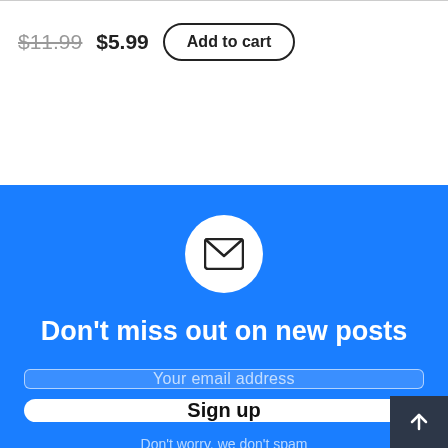$11.99 $5.99 Add to cart
[Figure (illustration): Email newsletter signup widget on blue background with envelope icon, headline 'Don't miss out on new posts', email input field, Sign up button, and 'Don't worry, we don't spam' text]
Don't miss out on new posts
Your email address
Sign up
Don't worry, we don't spam